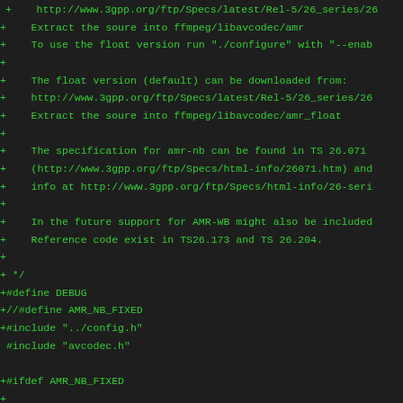diff/patch output showing AMR codec source code additions including URLs, #define, #include directives for FFmpeg libavcodec AMR support